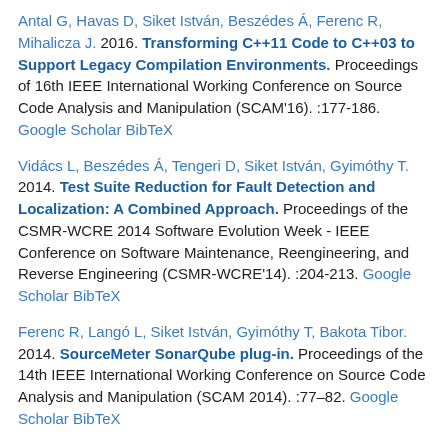Antal G, Havas D, Siket István, Beszédes Á, Ferenc R, Mihalicza J. 2016. Transforming C++11 Code to C++03 to Support Legacy Compilation Environments. Proceedings of 16th IEEE International Working Conference on Source Code Analysis and Manipulation (SCAM'16). :177-186. Google Scholar BibTeX
Vidács L, Beszédes Á, Tengeri D, Siket István, Gyimóthy T. 2014. Test Suite Reduction for Fault Detection and Localization: A Combined Approach. Proceedings of the CSMR-WCRE 2014 Software Evolution Week - IEEE Conference on Software Maintenance, Reengineering, and Reverse Engineering (CSMR-WCRE'14). :204-213. Google Scholar BibTeX
Ferenc R, Langó L, Siket István, Gyimóthy T, Bakota Tibor. 2014. SourceMeter SonarQube plug-in. Proceedings of the 14th IEEE International Working Conference on Source Code Analysis and Manipulation (SCAM 2014). :77–82. Google Scholar BibTeX
Siket István, Sey G, Bilicki V. 2004. Signaling compression. Fourth Conference of PhD Students in Computer Science (CSCS 2004). :103. Google Scholar BibTeX
Bakota Tibor, Hegedűs P, Siket István, Ladányi G, Ferenc R. 2014. QualityGate SourceAudit: a Tool for Assessing the